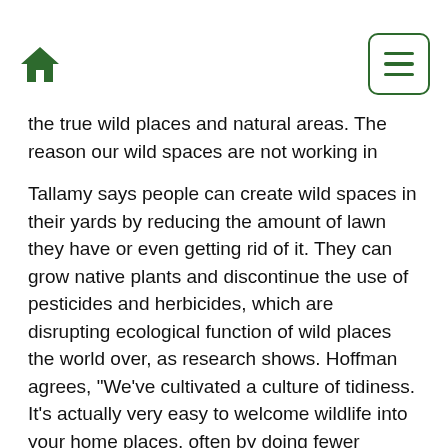[home icon] [menu icon]
the true wild places and natural areas. The reason our wild spaces are not working in terms of conservation is because they are too small and too isolated. Even the biggest national parks are too small or too isolated."
Tallamy says people can create wild spaces in their yards by reducing the amount of lawn they have or even getting rid of it. They can grow native plants and discontinue the use of pesticides and herbicides, which are disrupting ecological function of wild places the world over, as research shows. Hoffman agrees, “We’ve cultivated a culture of tidiness. It’s actually very easy to welcome wildlife into your home places, often by doing fewer things, by not bringing the leaf blower out and by leaving some dead wood where it fell, which creates important shelters for insects, for example.